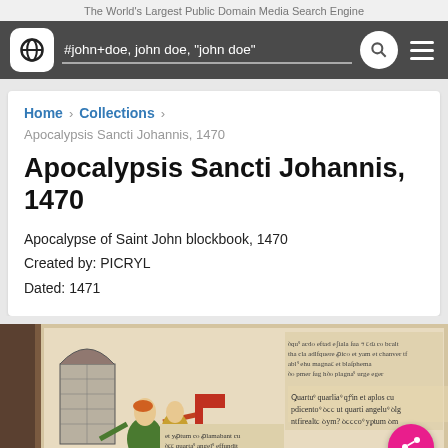The World's Largest Public Domain Media Search Engine
#john+doe, john doe, "john doe"
Home > Collections >
Apocalypsis Sancti Johannis, 1470
Apocalypsis Sancti Johannis, 1470
Apocalypse of Saint John blockbook, 1470
Created by: PICRYL
Dated: 1471
[Figure (photo): Medieval illuminated manuscript page showing a figure in a doorway with gothic text, from Apocalypsis Sancti Johannis 1470 blockbook]